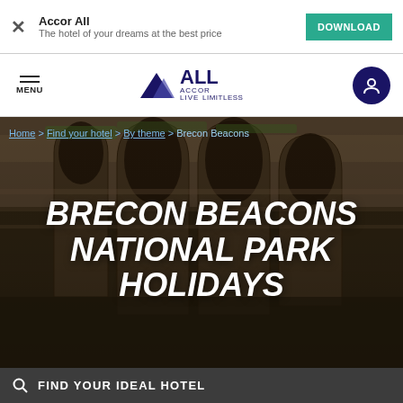[Figure (screenshot): Ad banner with Accor All app promotion, close button, title 'Accor All', subtitle 'The hotel of your dreams at the best price', and a teal DOWNLOAD button]
MENU | ACCOR LIVE LIMITLESS logo | user icon
[Figure (photo): Background photo of ancient stone gothic arches ruins with moss, dark atmospheric lighting]
Home > Find your hotel > By theme > Brecon Beacons
BRECON BEACONS NATIONAL PARK HOLIDAYS
FIND YOUR IDEAL HOTEL